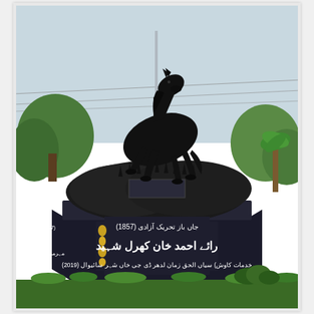[Figure (photo): Outdoor photograph of a large black equestrian statue (rearing horse) mounted on a dark stone pedestal in a park setting. The pedestal has Urdu text inscribed in white on a dark background. The central panel reads 'جاں باز تحریک آزادی (1857)' on the top line, 'رائے احمد خان کھرل شہید' in large script in the middle, and smaller Urdu text with '(2019)' on the bottom line. Decorative gold floral motifs flank the central inscription. Green trees and shrubs are visible in the background. Grass is at the base of the monument.]